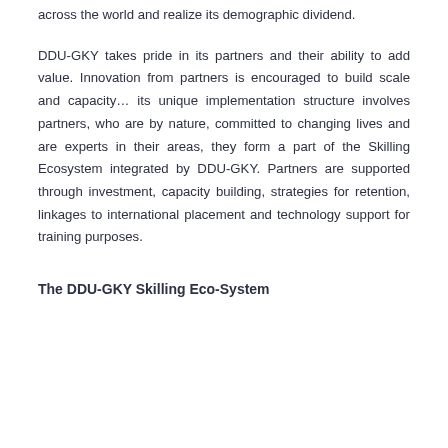across the world and realize its demographic dividend.
DDU-GKY takes pride in its partners and their ability to add value. Innovation from partners is encouraged to build scale and capacity… its unique implementation structure involves partners, who are by nature, committed to changing lives and are experts in their areas, they form a part of the Skilling Ecosystem integrated by DDU-GKY. Partners are supported through investment, capacity building, strategies for retention, linkages to international placement and technology support for training purposes.
The DDU-GKY Skilling Eco-System